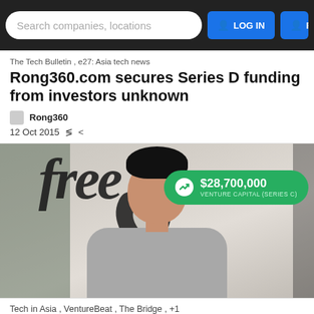Search companies, locations   LOG IN   REGIS
The Tech Bulletin , e27: Asia tech news
Rong360.com secures Series D funding from investors unknown
Rong360
12 Oct 2015
[Figure (photo): Photo of a man smiling in an office space with graffiti-style 'free' text on the wall behind him. An overlay badge shows $28,700,000 VENTURE CAPITAL (SERIES C) in green.]
Tech in Asia , VentureBeat , The Bridge , +1